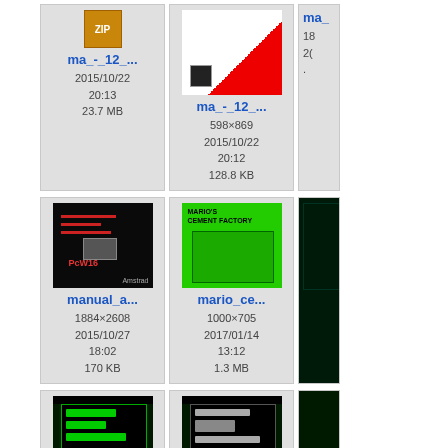[Figure (screenshot): File browser grid showing file thumbnails with names, dimensions, dates and sizes. Row 1: ma_-_12_... (ZIP icon, 2015/10/22 20:13, 23.7 MB), ma_-_12_... (book cover thumbnail, 598x869, 2015/10/22 20:12, 128.8 KB), ma_... (partially visible). Row 2: manual_a... (PCW16 book cover, 1884x2608, 2015/10/27 18:02, 170 KB), mario_ce... (Mario's Cement Factory green cover, 1000x705, 2017/01/14 13:12, 1.3 MB), ma_... (partially visible dark). Row 3: Three more partially visible green-screen thumbnails at bottom.]